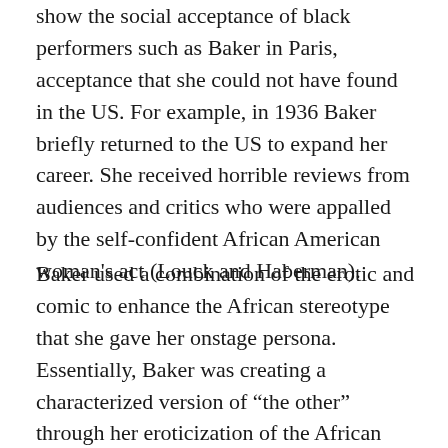show the social acceptance of black performers such as Baker in Paris, acceptance that she could not have found in the US. For example, in 1936 Baker briefly returned to the US to expand her career. She received horrible reviews from audiences and critics who were appalled by the self-confident African American woman's act (Louck and Haberman).
Baker used a combination of the erotic and comic to enhance the African stereotype that she gave her onstage persona. Essentially, Baker was creating a characterized version of “the other” through her eroticization of the African female. There are two ways that we can look at this example. One option is to view Baker’s